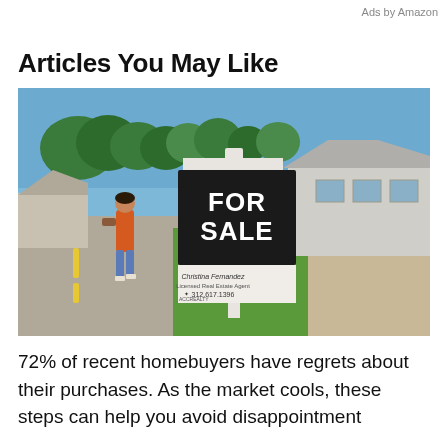Ads by Amazon
Articles You May Like
[Figure (photo): A 'FOR SALE' real estate sign on a post in front of a suburban house with a woman walking on the sidewalk in the background. The sign shows agent name Christina Fernandez and phone number 312.617.1396, with ACC REALTY branding.]
72% of recent homebuyers have regrets about their purchases. As the market cools, these steps can help you avoid disappointment